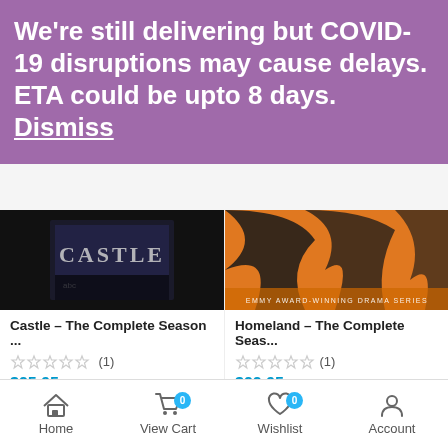We're still delivering but COVID-19 disruptions may cause delays. ETA could be upto 8 days. Dismiss
[Figure (screenshot): Castle TV show DVD box set cover, dark background with 'Castle' text]
Castle – The Complete Season ...
☆☆☆☆☆ (1)
$25.95
[Figure (screenshot): Homeland TV show DVD box set cover, orange background with zebra stripes]
Homeland – The Complete Seas...
☆☆☆☆☆ (1)
$22.95
[Figure (screenshot): Marvel TV show DVD box set cover, dark background]
[Figure (screenshot): Another DVD box set cover, light grey/white background]
Home   View Cart 0   Wishlist 0   Account